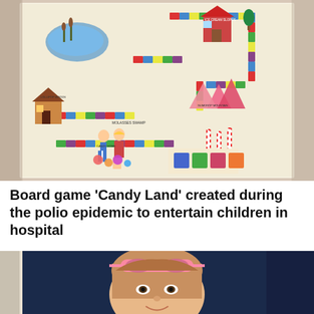[Figure (photo): Candy Land board game board showing the colorful winding path with candy-themed landmarks, two cartoon children, and colored cards]
Board game 'Candy Land' created during the polio epidemic to entertain children in hospital
[Figure (photo): Young girl with pink sunglasses on her head, smiling, photographed near a window with dark blue background]